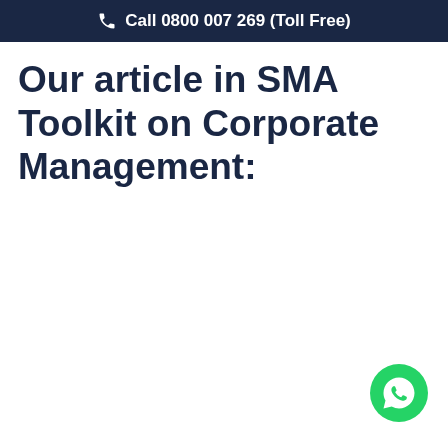Call 0800 007 269 (Toll Free)
Our article in SMA Toolkit on Corporate Management:
[Figure (illustration): WhatsApp contact button (green circle with WhatsApp logo) in the bottom-right corner]